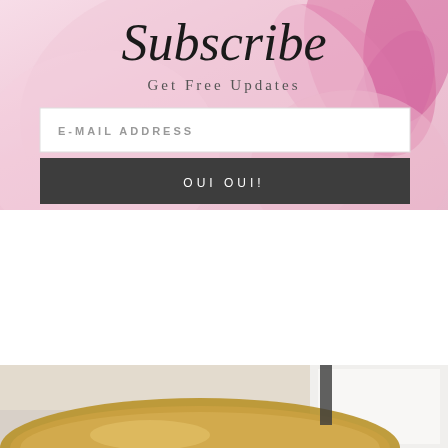[Figure (illustration): Pink floral background with Subscribe text in cursive script, Get Free Updates tagline, an email address input field, and a dark OUI OUI! subscribe button]
[Figure (photo): A partial photo showing what appears to be a kitchen or cooking scene with golden/copper colored cookware or bowl visible at bottom of image, and white cabinets or appliance in background]